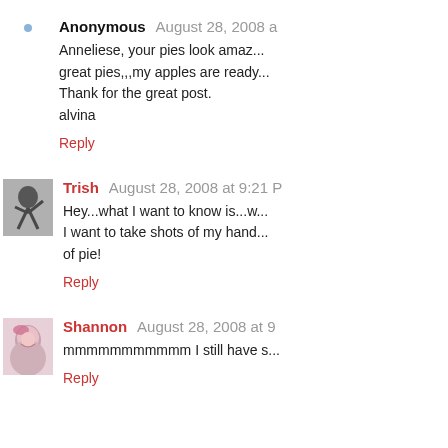Anonymous  August 28, 2008 a...
Anneliese, your pies look amaz... great pies,,,my apples are ready... Thank for the great post. alvina
Reply
[Figure (photo): Avatar image for Trish - black and white photo of person jumping]
Trish  August 28, 2008 at 9:21 P...
Hey...what I want to know is...w... I want to take shots of my hand... of pie!
Reply
[Figure (photo): Avatar image for Shannon - woman with pink/red hair smiling]
Shannon  August 28, 2008 at 9...
mmmmmmmmmmm I still have s...
Reply